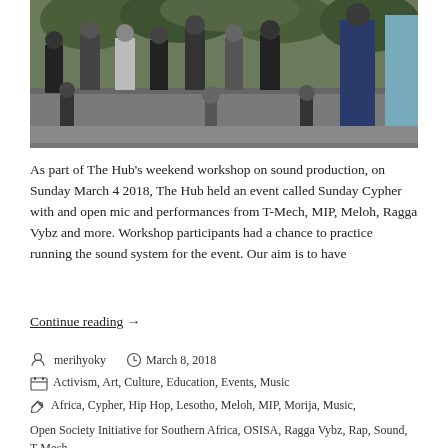[Figure (photo): Outdoor crowd scene with people standing and watching a performance or event, children in foreground, adults on a raised platform, trees in background]
As part of The Hub's weekend workshop on sound production, on Sunday March 4 2018, The Hub held an event called Sunday Cypher with and open mic and performances from T-Mech, MIP, Meloh, Ragga Vybz and more. Workshop participants had a chance to practice running the sound system for the event. Our aim is to have
Continue reading  →
merihyoky   March 8, 2018
Activism, Art, Culture, Education, Events, Music
Africa, Cypher, Hip Hop, Lesotho, Meloh, MIP, Morija, Music,
Open Society Initiative for Southern Africa, OSISA, Ragga Vybz, Rap, Sound, T-Mech,